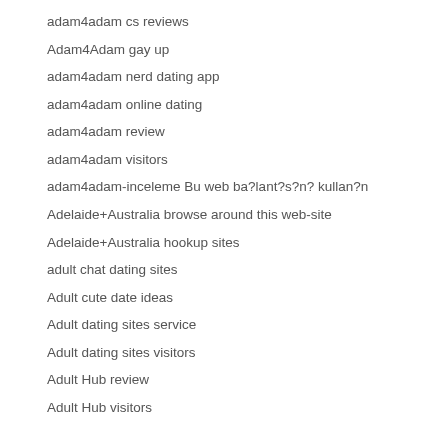adam4adam cs reviews
Adam4Adam gay up
adam4adam nerd dating app
adam4adam online dating
adam4adam review
adam4adam visitors
adam4adam-inceleme Bu web ba?lant?s?n? kullan?n
Adelaide+Australia browse around this web-site
Adelaide+Australia hookup sites
adult chat dating sites
Adult cute date ideas
Adult dating sites service
Adult dating sites visitors
Adult Hub review
Adult Hub visitors